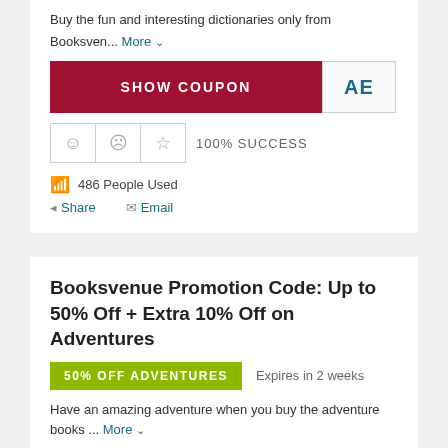Buy the fun and interesting dictionaries only from Booksven... More
[Figure (other): SHOW COUPON button with coupon code 'AE']
[Figure (other): Rating icons (smiley, frown, star) with 100% SUCCESS label]
486 People Used
Share  Email
Booksvenue Promotion Code: Up to 50% Off + Extra 10% Off on Adventures
[Figure (other): 50% OFF ADVENTURES badge with 'Expires in 2 weeks' text]
Have an amazing adventure when you buy the adventure books ... More
[Figure (other): SHOW COUPON button with coupon code 'AE']
[Figure (other): Rating icons row (partial, smiley, frown, star)]